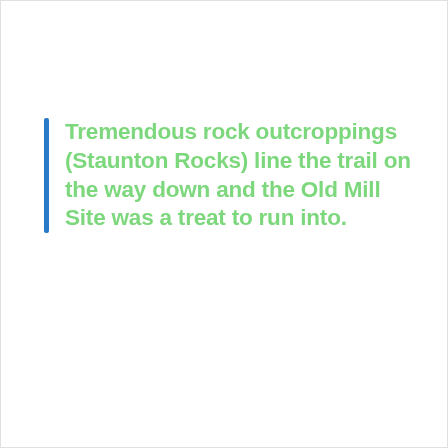Tremendous rock outcroppings (Staunton Rocks) line the trail on the way down and the Old Mill Site was a treat to run into.